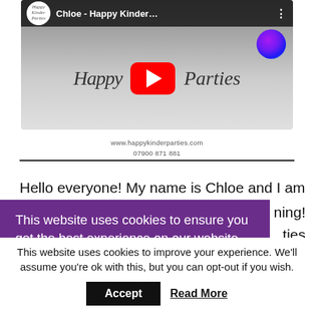[Figure (screenshot): YouTube video embed thumbnail showing 'Chloe - Happy Kinder...' video for Happy Kinder Parties channel, with red YouTube play button in center]
www.happykinderparties.com
07900 871 881
Hello everyone! My name is Chloe and I am a
ning!
ties
es,
s and
nd
This website uses cookies to ensure you get the best experience on our website.
Learn more
This website uses cookies to improve your experience. We'll assume you're ok with this, but you can opt-out if you wish.
Accept
Read More